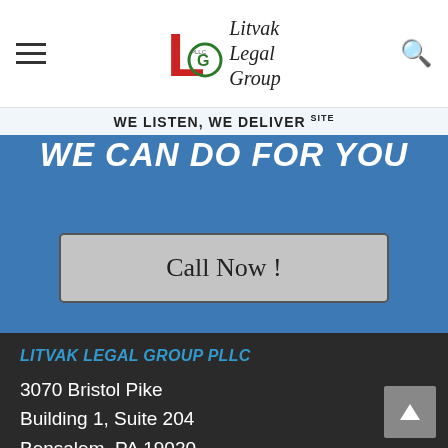Litvak Legal Group — Navigation bar with hamburger menu, logo, and search icon
WE LISTEN, WE DELIVER
WE CAN DO FOR YOU
Call Now !
LITVAK LEGAL GROUP PLLC
3070 Bristol Pike
Building 1, Suite 204
Bensalem, PA 19020
jlitvak@litvaklegalgroup.com
215 515.7113